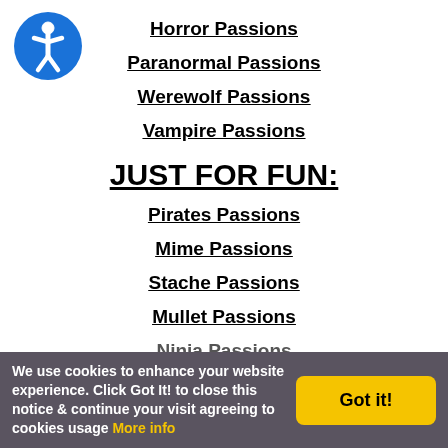[Figure (logo): Accessibility icon: blue circle with white stick figure person inside]
Horror Passions
Paranormal Passions
Werewolf Passions
Vampire Passions
JUST FOR FUN:
Pirates Passions
Mime Passions
Stache Passions
Mullet Passions
Ninja Passions
We use cookies to enhance your website experience. Click Got It! to close this notice & continue your visit agreeing to cookies usage More info